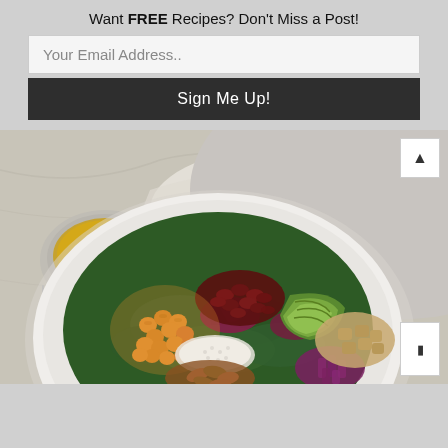Want FREE Recipes? Don't Miss a Post!
Your Email Address..
Sign Me Up!
[Figure (photo): Overhead view of a large white bowl filled with a colorful salad containing chickpeas, kidney beans, avocado slices, kale, radicchio, quinoa, roasted almonds, diced chicken, and red onion. A small bowl of golden dressing sits nearby on a marble surface with a fork to the left. Another bowl with similar ingredients is visible in the upper right corner.]